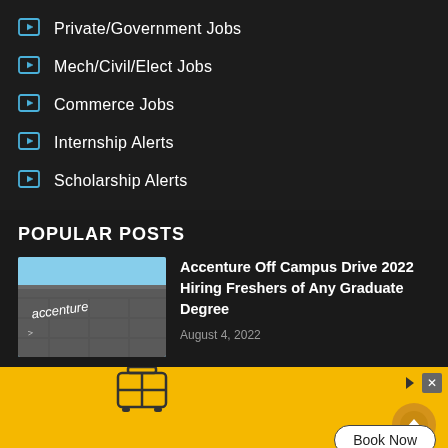Private/Government Jobs
Mech/Civil/Elect Jobs
Commerce Jobs
Internship Alerts
Scholarship Alerts
POPULAR POSTS
[Figure (photo): Accenture building exterior with logo]
Accenture Off Campus Drive 2022 Hiring Freshers of Any Graduate Degree
August 4, 2022
[Figure (infographic): Yellow advertisement banner with luggage icon, plane icon, and Book Now button]